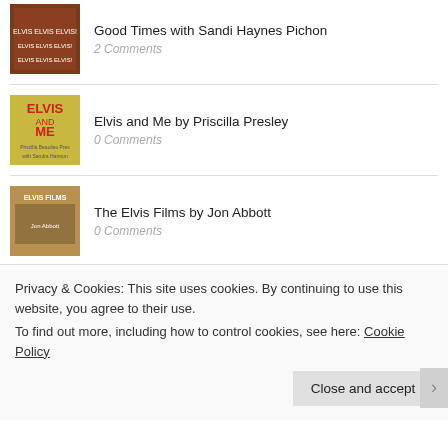Good Times with Sandi Haynes Pichon — 2 Comments
Elvis and Me by Priscilla Presley — 0 Comments
The Elvis Films by Jon Abbott — 0 Comments
My Vegas Life by Dominic Parisi — 0 Comments
Privacy & Cookies: This site uses cookies. By continuing to use this website, you agree to their use.
To find out more, including how to control cookies, see here: Cookie Policy
Close and accept